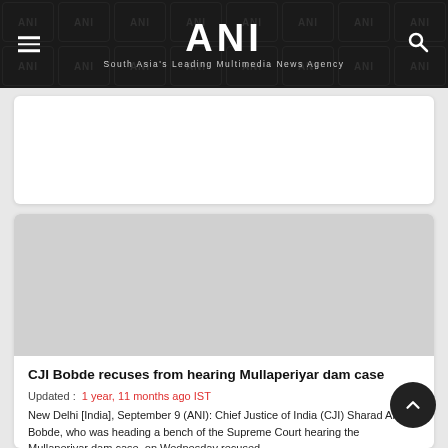ANI — South Asia's Leading Multimedia News Agency
[Figure (other): Advertisement placeholder card (white box)]
[Figure (photo): News article image placeholder (gray box)]
CJI Bobde recuses from hearing Mullaperiyar dam case
Updated : 1 year, 11 months ago IST
New Delhi [India], September 9 (ANI): Chief Justice of India (CJI) Sharad Arvind Bobde, who was heading a bench of the Supreme Court hearing the Mullaperiyar dam case, on Wednesday recused...